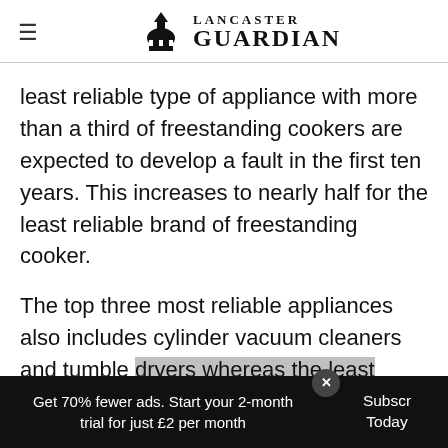Lancaster Guardian
least reliable type of appliance with more than a third of freestanding cookers are expected to develop a fault in the first ten years. This increases to nearly half for the least reliable brand of freestanding cooker.
The top three most reliable appliances also includes cylinder vacuum cleaners and tumble dryers whereas the least reliable includes washer dryers and fridge freezers.
Get 70% fewer ads. Start your 2-month trial for just £2 per month  Subscribe Today